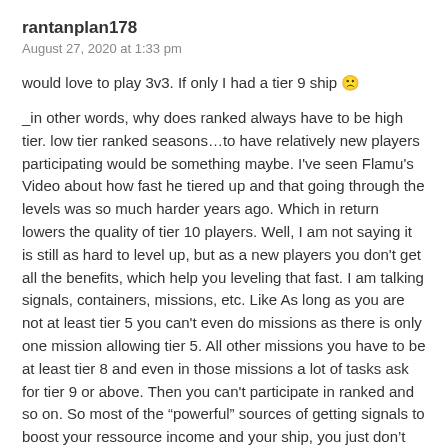rantanplan178
August 27, 2020 at 1:33 pm
would love to play 3v3. If only I had a tier 9 ship 🙁
_in other words, why does ranked always have to be high tier. low tier ranked seasons…to have relatively new players participating would be something maybe. I've seen Flamu's Video about how fast he tiered up and that going through the levels was so much harder years ago. Which in return lowers the quality of tier 10 players. Well, I am not saying it is still as hard to level up, but as a new players you don't get all the benefits, which help you leveling that fast. I am talking signals, containers, missions, etc. Like As long as you are not at least tier 5 you can't even do missions as there is only one mission allowing tier 5. All other missions you have to be at least tier 8 and even in those missions a lot of tasks ask for tier 9 or above. Then you can't participate in ranked and so on. So most of the “powerful” sources of getting signals to boost your ressource income and your ship, you just don’t get as easily and fast as those “I am playing the game since 2015” players. Therefore leveling takes much longer for new players, then what most “old farts” probably think. I started the